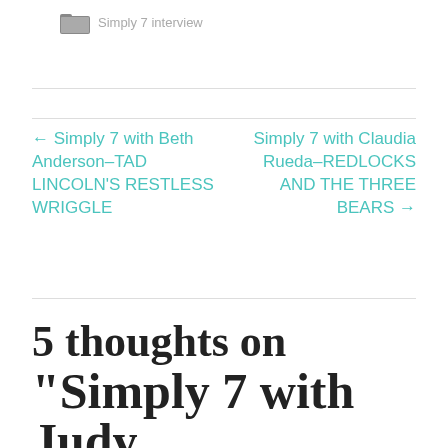Simply 7 interview
← Simply 7 with Beth Anderson–TAD LINCOLN'S RESTLESS WRIGGLE
Simply 7 with Claudia Rueda–REDLOCKS AND THE THREE BEARS →
5 thoughts on
“Simply 7 with Judy